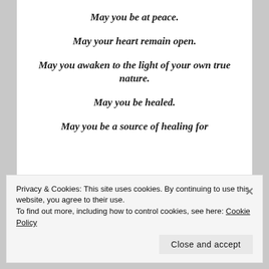May you be at peace.
May your heart remain open.
May you awaken to the light of your own true nature.
May you be healed.
May you be a source of healing for
Privacy & Cookies: This site uses cookies. By continuing to use this website, you agree to their use. To find out more, including how to control cookies, see here: Cookie Policy
Close and accept